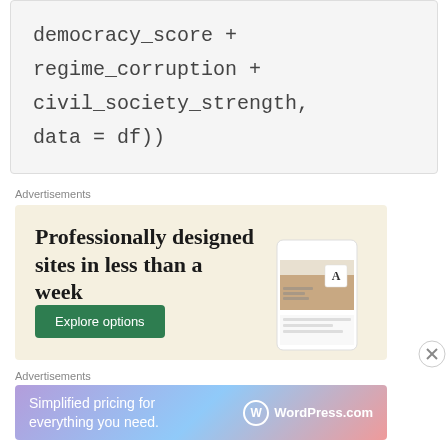Advertisements
[Figure (other): Advertisement banner: 'Professionally designed sites in less than a week' with green Explore options button and website mockup images on beige background]
Advertisements
[Figure (other): WordPress.com advertisement banner: 'Simplified pricing for everything you need.' on gradient purple-pink-blue background with WordPress.com logo]